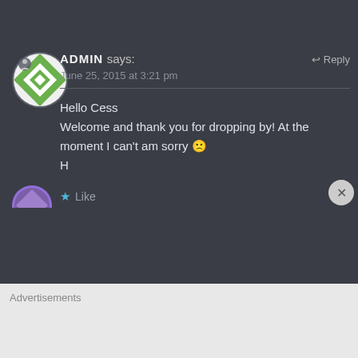[Figure (illustration): Green geometric/quilt pattern circular avatar with a small person icon overlay, on dark background]
ADMIN says: Reply
June 25, 2015 at 3:21 pm

Hello Cess
Welcome and thank you for dropping by! At the moment I can't am sorry 😢
H
Like
Advertisements